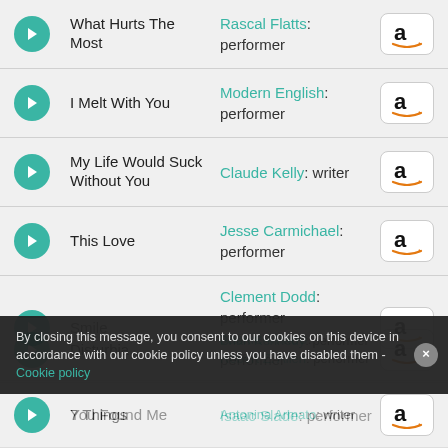What Hurts The Most — Rascal Flatts: performer
I Melt With You — Modern English: performer
My Life Would Suck Without You — Claude Kelly: writer
This Love — Jesse Carmichael: performer
Smile — Clement Dodd: performer, Jackie Mittoo: performer
You Found Me — Isaac Slade: performer
By closing this message, you consent to our cookies on this device in accordance with our cookie policy unless you have disabled them - Cookie policy
Disturbia — Brian Kennedy: performer, Robert Z. Allen: performer
7 Things — Antonina Armato: writer